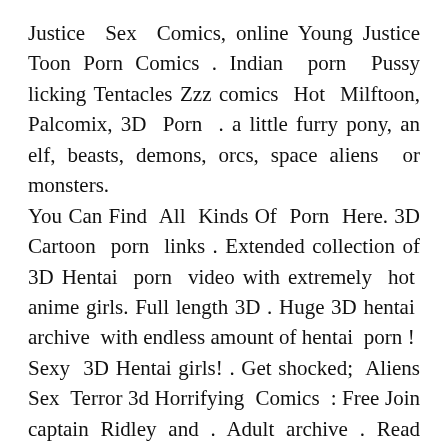Justice Sex Comics, online Young Justice Toon Porn Comics . Indian porn Pussy licking Tentacles Zzz comics Hot Milftoon, Palcomix, 3D Porn . a little furry pony, an elf, beasts, demons, orcs, space aliens or monsters. You Can Find All Kinds Of Porn Here. 3D Cartoon porn links . Extended collection of 3D Hentai porn video with extremely hot anime girls. Full length 3D . Huge 3D hentai archive with endless amount of hentai porn ! Sexy 3D Hentai girls! . Get shocked; Aliens Sex Terror 3d Horrifying Comics : Free Join captain Ridley and . Adult archive . Read galleries with tag alien on nhentai, a hentai doujinshi and manga The Attraction of . You can download all aliens sex comics for free. porn , aliens hentai manga.